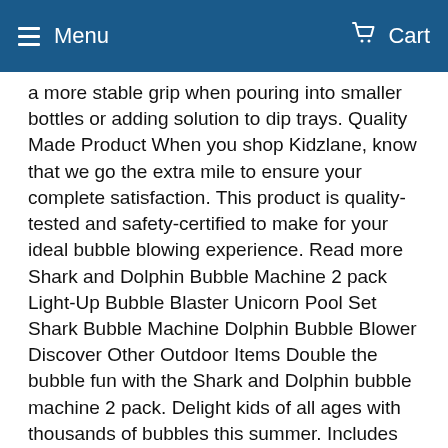Menu  Cart
a more stable grip when pouring into smaller bottles or adding solution to dip trays. Quality Made Product When you shop Kidzlane, know that we go the extra mile to ensure your complete satisfaction. This product is quality-tested and safety-certified to make for your ideal bubble blowing experience. Read more Shark and Dolphin Bubble Machine 2 pack Light-Up Bubble Blaster Unicorn Pool Set Shark Bubble Machine Dolphin Bubble Blower Discover Other Outdoor Items Double the bubble fun with the Shark and Dolphin bubble machine 2 pack. Delight kids of all ages with thousands of bubbles this summer. Includes 16 oz bottle of bubble solution. Thrilling light-up handheld bubble blaster blows out thousands of bubbles at once through 10 individual streams for maximum fun! Inflatable splash pool for unicorn obsessed littles aged 3-5. Complete with a set of floating rubber unicorns, easy to